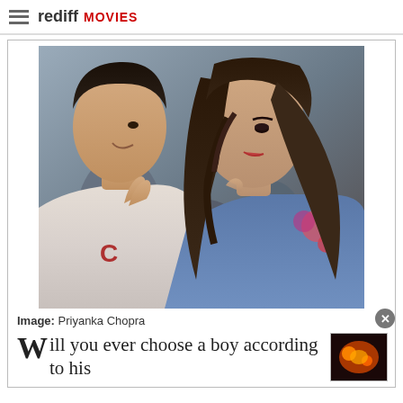rediff MOVIES
[Figure (photo): Movie still showing a young man on the left and Priyanka Chopra on the right, facing each other closely, with a crowd in the background. The man wears a grey hoodie and the woman wears a denim jacket with floral details.]
Image: Priyanka Chopra
Will you ever choose a boy according to his